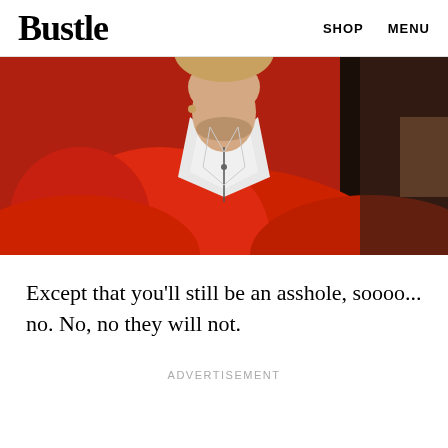Bustle   SHOP   MENU
[Figure (photo): A person wearing a red jacket with a white collared shirt, photographed from the neck/shoulders up, face partially visible at top edge. Dark background visible on right side.]
Except that you'll still be an asshole, soooo... no. No, no they will not.
ADVERTISEMENT